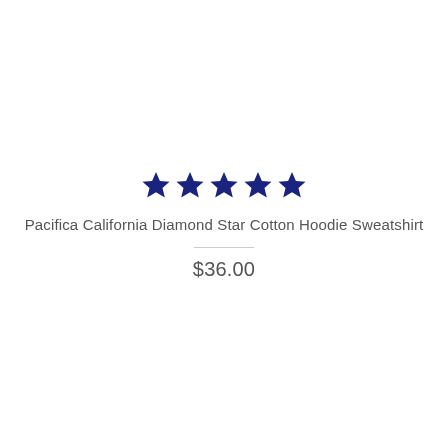[Figure (other): Five dark navy blue filled star icons in a row representing a 5-star rating]
Pacifica California Diamond Star Cotton Hoodie Sweatshirt
$36.00